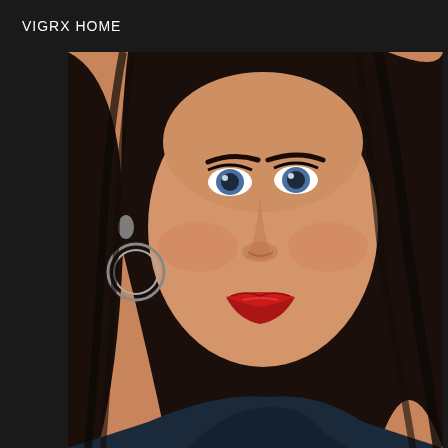VIGRX HOME
[Figure (photo): Close-up portrait of a young woman with dark hair, blue eyes, wearing hoop earrings and red lipstick, looking at camera with a serious expression. She is wearing a dark top. The photo is a selfie-style close-up showing her face and partial shoulders.]